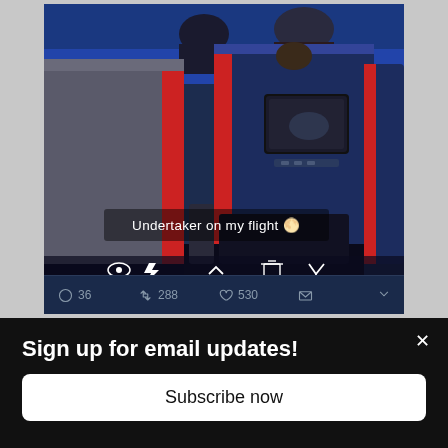[Figure (photo): Snapchat screenshot showing the interior of an airplane cabin with seats featuring red and blue trim and headrest screens. The snap overlay text reads 'Undertaker on my flight' with a yellow lightning bolt emoji. Below are Snapchat viewer icons showing '8' views and other controls. A Twitter interaction bar at the bottom shows 36 comments, 288 retweets, 530 likes, and a mail icon.]
Sign up for email updates!
Subscribe now